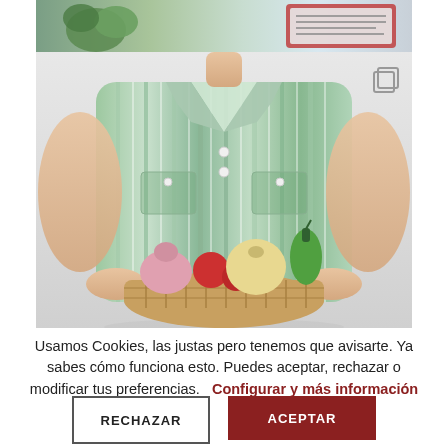[Figure (photo): Top strip showing partial view of a woman with broccoli and a tablet/book on a table]
[Figure (photo): Woman in a green and white striped sleeveless shirt holding a wicker basket of vegetables including onions, tomatoes, garlic and a green pepper]
Usamos Cookies, las justas pero tenemos que avisarte. Ya sabes cómo funciona esto. Puedes aceptar, rechazar o modificar tus preferencias.    Configurar y más información
RECHAZAR
ACEPTAR